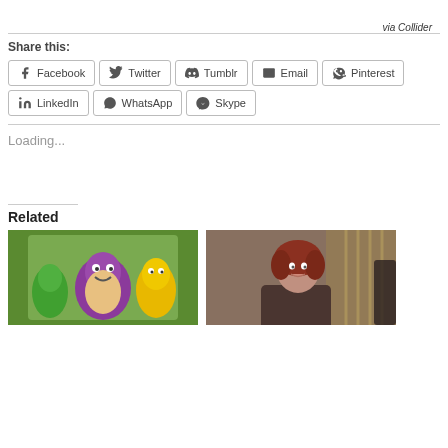via Collider
Share this:
Facebook
Twitter
Tumblr
Email
Pinterest
LinkedIn
WhatsApp
Skype
Loading...
Related
[Figure (photo): Barney the purple dinosaur and other characters from the Barney and Friends TV show]
[Figure (photo): A woman with styled red hair smiling, in a formal setting]